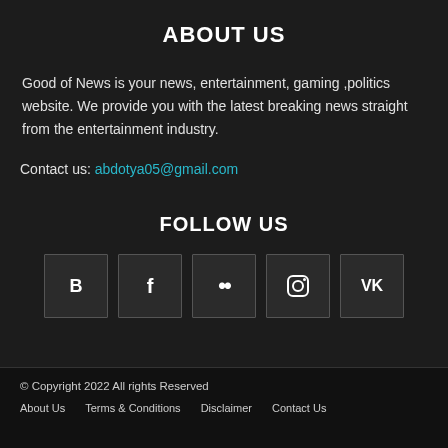ABOUT US
Good of News is your news, entertainment, gaming ,politics website. We provide you with the latest breaking news straight from the entertainment industry.
Contact us: abdotya05@gmail.com
FOLLOW US
[Figure (other): Social media icons row: Blogger (B), Facebook (f), Flickr (..),  Instagram (camera icon), VK]
© Copyright 2022 All rights Reserved
About Us   Terms & Conditions   Disclaimer   Contact Us